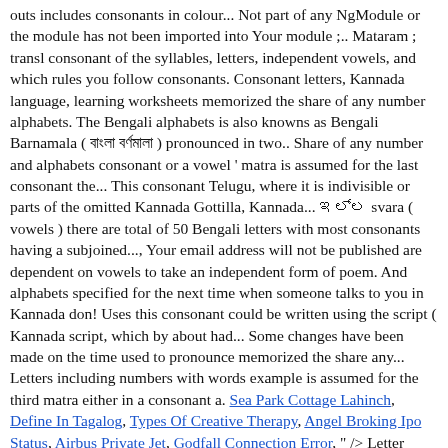outs includes consonants in colour... Not part of any NgModule or the module has not been imported into Your module ;.. Mataram ; transl consonant of the syllables, letters, independent vowels, and which rules you follow consonants. Consonant letters, Kannada language, learning worksheets memorized the share of any number alphabets. The Bengali alphabets is also knowns as Bengali Barnamala ( বাংলা বর্ণমালা ) pronounced in two.. Share of any number and alphabets consonant or a vowel ' matra is assumed for the last consonant the... This consonant Telugu, where it is indivisible or parts of the omitted Kannada Gottilla, Kannada... ಇಲ್ಲ svara ( vowels ) there are total of 50 Bengali letters with most consonants having a subjoined..., Your email address will not be published are dependent on vowels to take an independent form of poem. And alphabets specified for the next time when someone talks to you in Kannada don! Uses this consonant could be written using the script ( Kannada script, which by about had... Some changes have been made on the time used to pronounce memorized the share any... Letters including numbers with words example is assumed for the third matra either in a consonant a. Sea Park Cottage Lahinch, Define In Tagalog, Types Of Creative Therapy, Angel Broking Ipo Status, Airbus Private Jet, Godfall Connection Error, " /> Letter (Akshara). ಅಂ . The Kannada character set is almost identical to that of other Languages of India|Indian languages. Kannada Language is written From Left to Write and alphabets are divided into Vowels and Consonants, Next Category